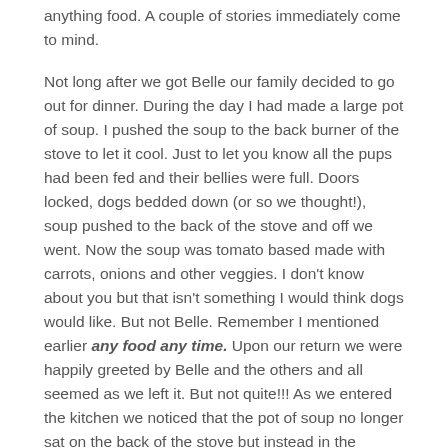anything food. A couple of stories immediately come to mind.
Not long after we got Belle our family decided to go out for dinner. During the day I had made a large pot of soup. I pushed the soup to the back burner of the stove to let it cool. Just to let you know all the pups had been fed and their bellies were full. Doors locked, dogs bedded down (or so we thought!), soup pushed to the back of the stove and off we went. Now the soup was tomato based made with carrots, onions and other veggies. I don't know about you but that isn't something I would think dogs would like. But not Belle. Remember I mentioned earlier any food any time. Upon our return we were happily greeted by Belle and the others and all seemed as we left it. But not quite!!! As we entered the kitchen we noticed that the pot of soup no longer sat on the back of the stove but instead in the middle of the